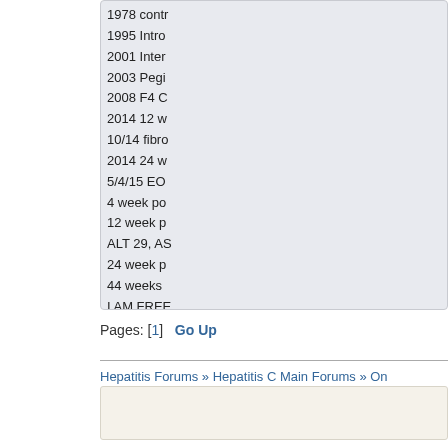1978 contr
1995 Intro
2001 Inter
2003 Pegi
2008 F4 C
2014 12 w
10/14 fibro
2014 24 w
5/4/15 EO
4 week po
12 week p
ALT 29, AS
24 week p
44 weeks
I AM FREE
Pages: [1]   Go Up
Hepatitis Forums » Hepatitis C Main Forums » On